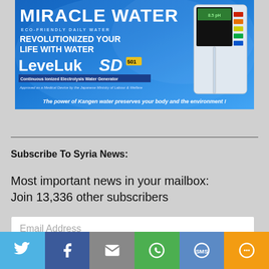[Figure (illustration): Advertisement banner for LeveLuk SD 501 water ionizer. Blue water background with text: MIRACLE WATER, ECO-FRIENDLY DAILY WATER, REVOLUTIONIZED YOUR LIFE WITH WATER, LeveLuk SD 501, Continuous Ionized Electrolysis Water Generator, Approved as a Medical Device by the Japanese Ministry of Labour & Welfare, The power of Kangen water preserves your body and the environment!]
Subscribe To Syria News:
Most important news in your mailbox:
Join 13,336 other subscribers
Email Address
[Figure (infographic): Social media sharing bar with Twitter, Facebook, Email, WhatsApp, SMS, and More buttons]